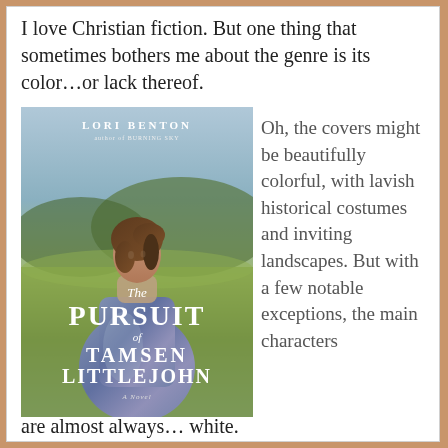I love Christian fiction. But one thing that sometimes bothers me about the genre is its color…or lack thereof.
[Figure (photo): Book cover of 'The Pursuit of Tamsen Littlejohn' by Lori Benton. Shows a woman in a blue historical dress standing in a green landscape with hills. Text on cover reads: LORI BENTON, author of BURNING SKY, The Pursuit of Tamsen Littlejohn, A Novel.]
Oh, the covers might be beautifully colorful, with lavish historical costumes and inviting landscapes. But with a few notable exceptions, the main characters are almost always… white.